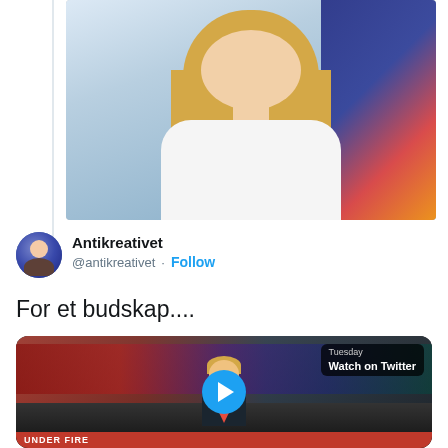[Figure (photo): Photo of a blonde woman in a white shirt sitting down, colorful background on the right side]
Antikreativet @antikreativet · Follow
For et budskap....
[Figure (screenshot): Video thumbnail of a rally with a man on stage, 'Watch on Twitter' badge in upper right, play button in center, 'UNDER FIRE' red bar at bottom. Tuesday shown above Watch on Twitter.]